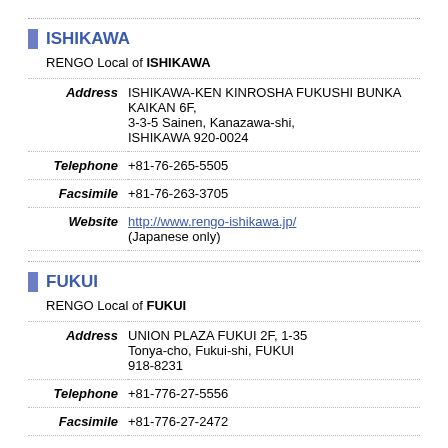ISHIKAWA
RENGO Local of ISHIKAWA
| Address | ISHIKAWA-KEN KINROSHA FUKUSHI BUNKA KAIKAN 6F, 3-3-5 Sainen, Kanazawa-shi, ISHIKAWA 920-0024 |
| Telephone | +81-76-265-5505 |
| Facsimile | +81-76-263-3705 |
| Website | http://www.rengo-ishikawa.jp/ (Japanese only) |
FUKUI
RENGO Local of FUKUI
| Address | UNION PLAZA FUKUI 2F, 1-35 Tonya-cho, Fukui-shi, FUKUI 918-8231 |
| Telephone | +81-776-27-5556 |
| Facsimile | +81-776-27-2472 |